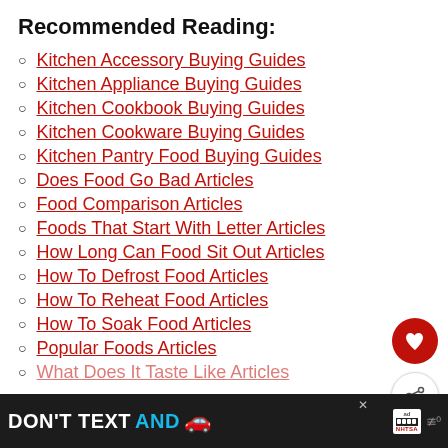Recommended Reading:
Kitchen Accessory Buying Guides
Kitchen Appliance Buying Guides
Kitchen Cookbook Buying Guides
Kitchen Cookware Buying Guides
Kitchen Pantry Food Buying Guides
Does Food Go Bad Articles
Food Comparison Articles
Foods That Start With Letter Articles
How Long Can Food Sit Out Articles
How To Defrost Food Articles
How To Reheat Food Articles
How To Soak Food Articles
Popular Foods Articles
What Does It Taste Like Articles
[Figure (infographic): Ad banner: DON'T TEXT AND [car emoji] with NHTSA branding on dark background]
[Figure (infographic): Sidebar with heart/favorite button (red circle), share button, and What's Next panel showing How To Reheat...]